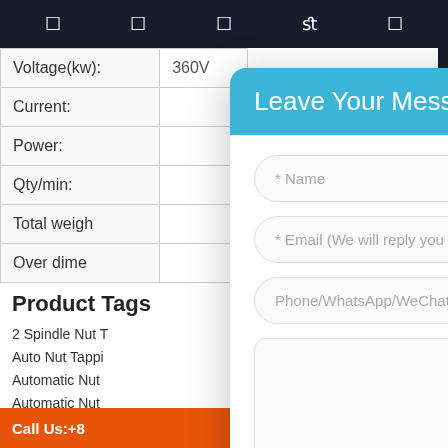Navigation icons bar
| Property | Value |
| --- | --- |
| Voltage(kw): | 360V |
| Current: |  |
| Power: |  |
| Qty/min: |  |
| Total weigh |  |
| Over dime |  |
Product Tags
2 Spindle Nut T
Auto Nut Tappi
Automatic Nut
Automatic Nut
Flange And Hex
Flange Nut Tap
Four Spindle Fl
Call Us:+8
[Figure (screenshot): Modal dialog with 'Leave Your Message' header in teal/blue, containing input fields for Name, Email, Phone/WhatsApp/WeChat, a message textarea, and a green Send button.]